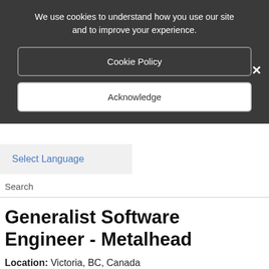We use cookies to understand how you use our site and to improve your experience.
Cookie Policy
Acknowledge
Select Language
Search
Generalist Software Engineer - Metalhead
Location: Victoria, BC, Canada